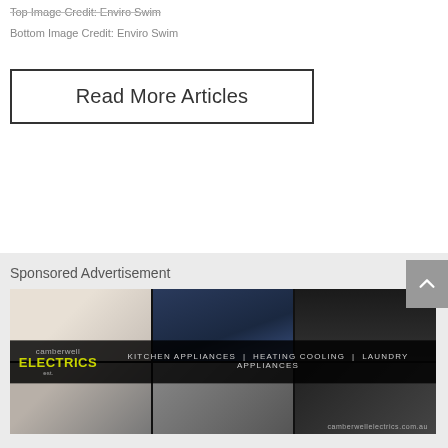Top Image Credit: Enviro Swim
Bottom Image Credit: Enviro Swim
Read More Articles
Sponsored Advertisement
[Figure (photo): Camberwell Electrics advertisement banner showing kitchen appliances, heating/cooling, and laundry appliances with a grid of product images]